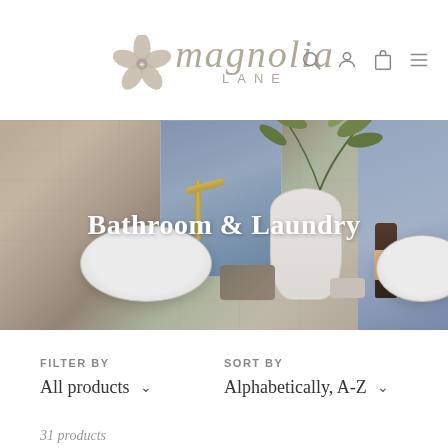[Figure (logo): Magnolia Lane logo with flower icon, italic serif text 'magnolia' and 'LANE' below, navigation icons (search, profile, cart, menu) on the right]
[Figure (photo): Bathroom and laundry hero photo showing a styled bathroom counter with white vessel sinks, gold tap, large white vase with olive branches, folded grey towel, dark bottle with label, against sandy travertine tile wall]
Bathroom & Laundry
FILTER BY
All products
SORT BY
Alphabetically, A-Z
31 products